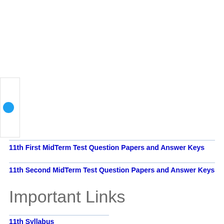[Figure (logo): Blue circle logo partially visible on left edge in a white box]
11th First MidTerm Test Question Papers and Answer Keys
11th Second MidTerm Test Question Papers and Answer Keys
Important Links
11th Syllabus